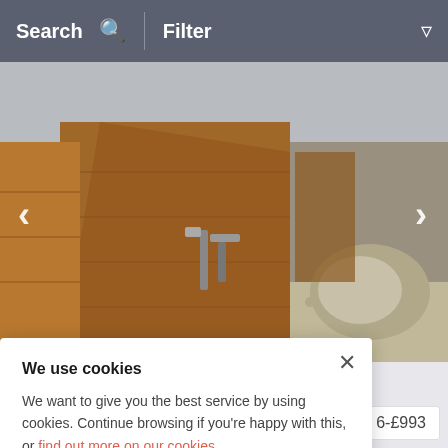Search   Filter
[Figure (photo): Wooden gate/door with metal hardware, stone wall and gravel courtyard visible in background]
The Whisky Room
Pitlochry (2.6mle NE), Perth and Kinross
We use cookies
We want to give you the best service by using cookies. Continue browsing if you're happy with this, or find out more on our cookies.
6-£993